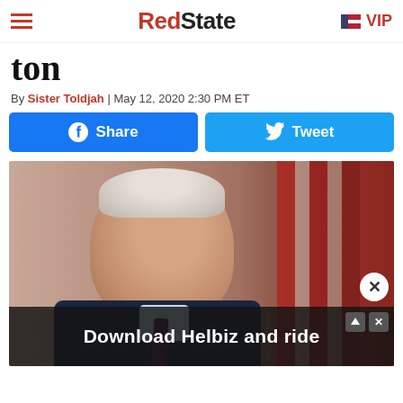RedState VIP
ton
By Sister Toldjah | May 12, 2020 2:30 PM ET
[Figure (screenshot): Facebook Share button and Twitter Tweet button side by side]
[Figure (photo): Joe Biden in dark suit and tie against red and white striped background, looking serious]
Download Helbiz and ride